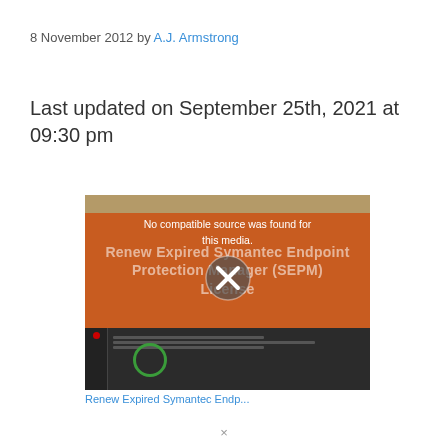8 November 2012 by A.J. Armstrong
Last updated on September 25th, 2021 at 09:30 pm
[Figure (screenshot): Video player showing 'No compatible source was found for this media.' overlay with an X button, on top of a thumbnail for 'Renew Expired Symantec Endpoint Protection Manager (SEPM) License']
Renew Expired Symantec Endp...